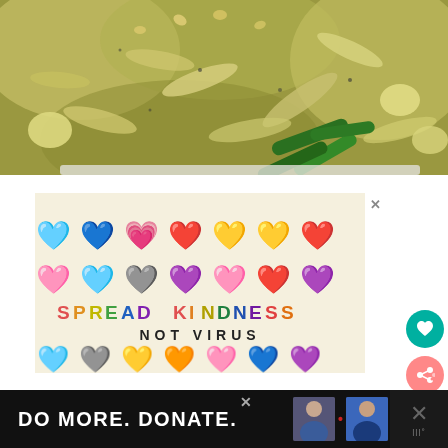[Figure (photo): Close-up photo of pasta dish with pesto sauce, green beans, pine nuts, and potato chunks on a white plate]
[Figure (infographic): Advertisement with cream background showing colorful smiling heart emojis and text 'SPREAD KINDNESS NOT VIRUS']
[Figure (infographic): Bottom banner advertisement reading 'DO MORE. DONATE.' with images of people and a close button]